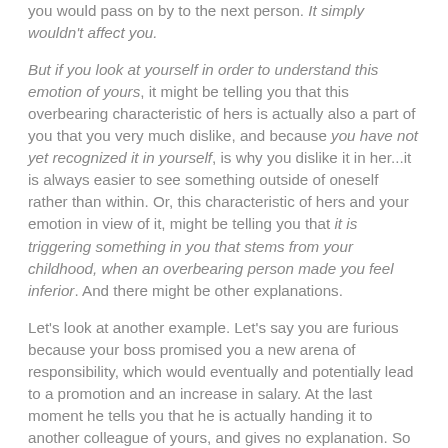you would pass on by to the next person. It simply wouldn't affect you.
But if you look at yourself in order to understand this emotion of yours, it might be telling you that this overbearing characteristic of hers is actually also a part of you that you very much dislike, and because you have not yet recognized it in yourself, is why you dislike it in her...it is always easier to see something outside of oneself rather than within. Or, this characteristic of hers and your emotion in view of it, might be telling you that it is triggering something in you that stems from your childhood, when an overbearing person made you feel inferior. And there might be other explanations.
Let's look at another example. Let's say you are furious because your boss promised you a new arena of responsibility, which would eventually and potentially lead to a promotion and an increase in salary. At the last moment he tells you that he is actually handing it to another colleague of yours, and gives no explanation. So you fume. And visualize throttling your boss. And sleep poorly. And have bad dreams. And continue to be very angry. By now even your digestion